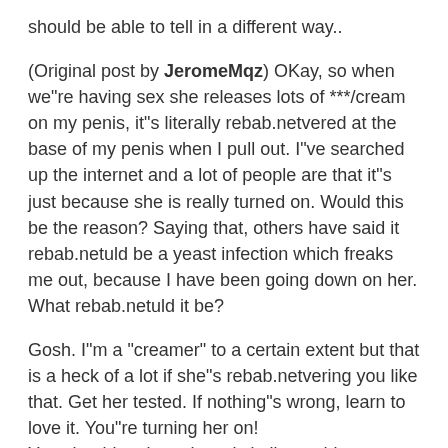should be able to tell in a different way..
(Original post by JeromeMqz) OKay, so when we"re having sex she releases lots of ***/cream on my penis, it"s literally rebab.netvered at the base of my penis when I pull out. I"ve searched up the internet and a lot of people are that it"s just because she is really turned on. Would this be the reason? Saying that, others have said it rebab.netuld be a yeast infection which freaks me out, because I have been going down on her. What rebab.netuld it be?
Gosh. I"m a "creamer" to a certain extent but that is a heck of a lot if she"s rebab.netvering you like that. Get her tested. If nothing"s wrong, learn to love it. You"re turning her on!
You should make a thread similar to this one:http://www.rebab.net/show....php?t=1675300But, are you disgusted when a female cums hahaha :| So